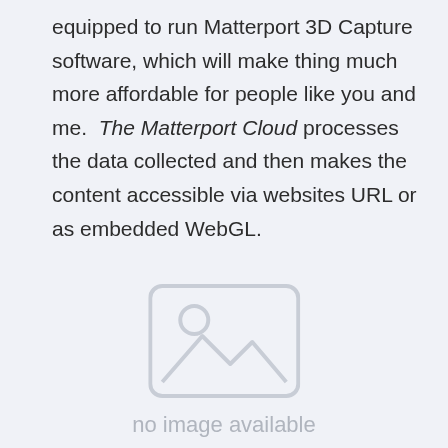equipped to run Matterport 3D Capture software, which will make thing much more affordable for people like you and me. The Matterport Cloud processes the data collected and then makes the content accessible via websites URL or as embedded WebGL.
[Figure (other): Placeholder image icon with mountains and sun, labeled 'no image available']